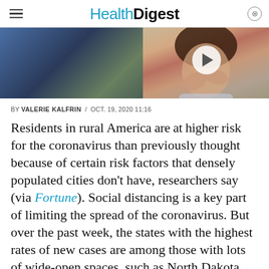Health Digest
[Figure (photo): Left: partial article image strip with dark tones. Right: video thumbnail showing a woman with her hands near her face, with a white play button circle overlay.]
BY VALERIE KALFRIN / OCT. 19, 2020 11:16
Residents in rural America are at higher risk for the coronavirus than previously thought because of certain risk factors that densely populated cities don't have, researchers say (via Fortune). Social distancing is a key part of limiting the spread of the coronavirus. But over the past week, the states with the highest rates of new cases are among those with lots of wide-open spaces, such as North Dakota, South Dakota, and Wisconsin (via The Washington Post).